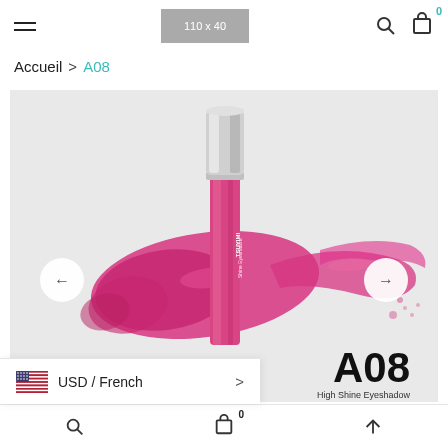Navigation header with hamburger menu, logo placeholder, search icon, cart icon with badge 0
Accueil > A08
[Figure (photo): Product photo of TSUYIMI Shine Eyeshadow liquid cosmetic tube in pink/magenta color with pink shimmer swatch smeared across a light grey background. Large black text 'A08' and 'High Shine Eyeshadow' visible at bottom right. Carousel left and right arrow buttons visible on sides.]
USD / French
Bottom navigation bar with search, cart (badge 0), and up arrow icons